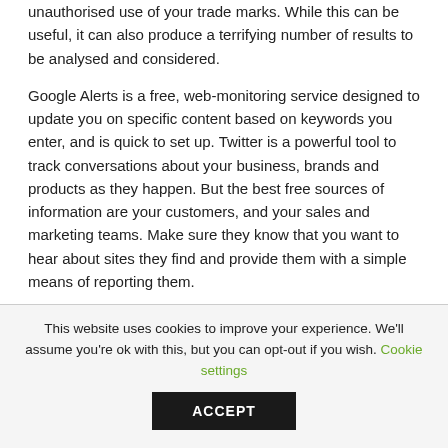unauthorised use of your trade marks. While this can be useful, it can also produce a terrifying number of results to be analysed and considered.
Google Alerts is a free, web-monitoring service designed to update you on specific content based on keywords you enter, and is quick to set up. Twitter is a powerful tool to track conversations about your business, brands and products as they happen. But the best free sources of information are your customers, and your sales and marketing teams. Make sure they know that you want to hear about sites they find and provide them with a simple means of reporting them.
This website uses cookies to improve your experience. We'll assume you're ok with this, but you can opt-out if you wish. Cookie settings
ACCEPT